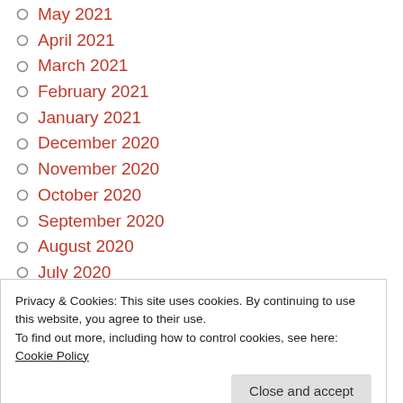May 2021
April 2021
March 2021
February 2021
January 2021
December 2020
November 2020
October 2020
September 2020
August 2020
July 2020
June 2020
May 2020
Privacy & Cookies: This site uses cookies. By continuing to use this website, you agree to their use.
To find out more, including how to control cookies, see here: Cookie Policy
November 2019